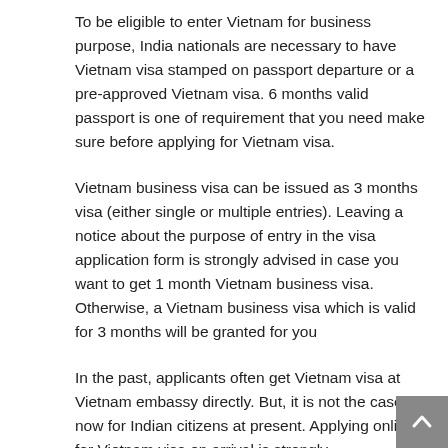To be eligible to enter Vietnam for business purpose, India nationals are necessary to have Vietnam visa stamped on passport departure or a pre-approved Vietnam visa. 6 months valid passport is one of requirement that you need make sure before applying for Vietnam visa.
Vietnam business visa can be issued as 3 months visa (either single or multiple entries). Leaving a notice about the purpose of entry in the visa application form is strongly advised in case you want to get 1 month Vietnam business visa. Otherwise, a Vietnam business visa which is valid for 3 months will be granted for you
In the past, applicants often get Vietnam visa at Vietnam embassy directly. But, it is not the case now for Indian citizens at present. Applying online for Vietnam visa on arrival is strongly